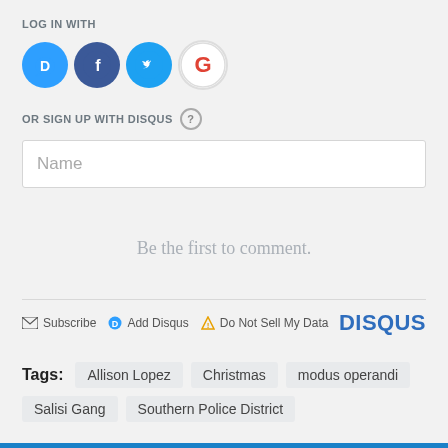LOG IN WITH
[Figure (logo): Social login icons: Disqus (blue circle with D), Facebook (dark blue circle with f), Twitter (light blue circle with bird), Google (white/red circle with G)]
OR SIGN UP WITH DISQUS ?
Name
Be the first to comment.
Subscribe   Add Disqus   Do Not Sell My Data   DISQUS
Tags: Allison Lopez   Christmas   modus operandi   Salisi Gang   Southern Police District